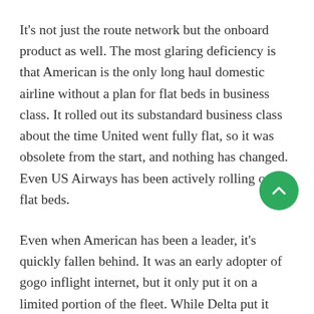It's not just the route network but the onboard product as well. The most glaring deficiency is that American is the only long haul domestic airline without a plan for flat beds in business class. It rolled out its substandard business class about the time United went fully flat, so it was obsolete from the start, and nothing has changed. Even US Airways has been actively rolling out flat beds.
Even when American has been a leader, it's quickly fallen behind. It was an early adopter of gogo inflight internet, but it only put it on a limited portion of the fleet. While Delta put it everywhere, American stuttered and is only now catching up. Hopefully some of its more forward-thinking moves, like working on streaming video with gogo will actually go past the testing stage and give